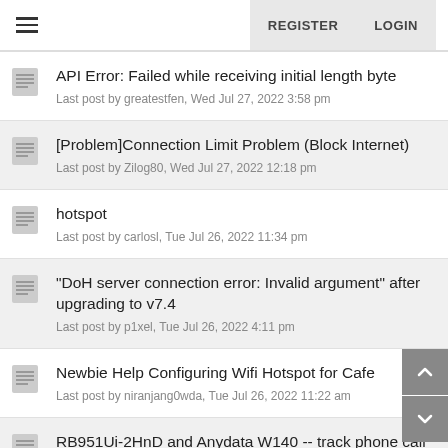REGISTER   LOGIN
API Error: Failed while receiving initial length byte
Last post by greatestfen, Wed Jul 27, 2022 3:58 pm
[Problem]Connection Limit Problem (Block Internet)
Last post by Zilog80, Wed Jul 27, 2022 12:18 pm
hotspot
Last post by carlosl, Tue Jul 26, 2022 11:34 pm
"DoH server connection error: Invalid argument" after upgrading to v7.4
Last post by p1xel, Tue Jul 26, 2022 4:11 pm
Newbie Help Configuring Wifi Hotspot for Cafe
Last post by niranjang0wda, Tue Jul 26, 2022 11:22 am
RB951Ui-2HnD and Anydata W140 -- track phone call